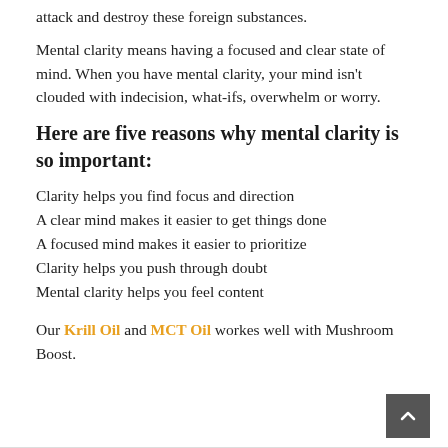attack and destroy these foreign substances.
Mental clarity means having a focused and clear state of mind. When you have mental clarity, your mind isn't clouded with indecision, what-ifs, overwhelm or worry.
Here are five reasons why mental clarity is so important:
Clarity helps you find focus and direction
A clear mind makes it easier to get things done
A focused mind makes it easier to prioritize
Clarity helps you push through doubt
Mental clarity helps you feel content
Our Krill Oil and MCT Oil workes well with Mushroom Boost.